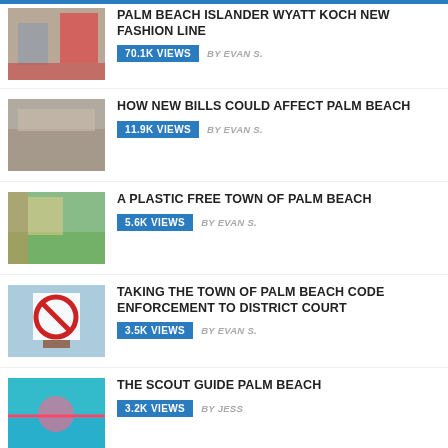PALM BEACH ISLANDER WYATT KOCH NEW FASHION LINE | 70.1K VIEWS | BY EVAN S.
HOW NEW BILLS COULD AFFECT PALM BEACH | 11.9K VIEWS | BY EVAN S.
A PLASTIC FREE TOWN OF PALM BEACH | 5.6K VIEWS | BY EVAN S.
TAKING THE TOWN OF PALM BEACH CODE ENFORCEMENT TO DISTRICT COURT | 3.5K VIEWS | BY EVAN S.
THE SCOUT GUIDE PALM BEACH | 3.2K VIEWS | BY JESS
TAX RESPONSIBILITY FOR TOWN OF PALM BEACH PAR 3 RESTAURANT